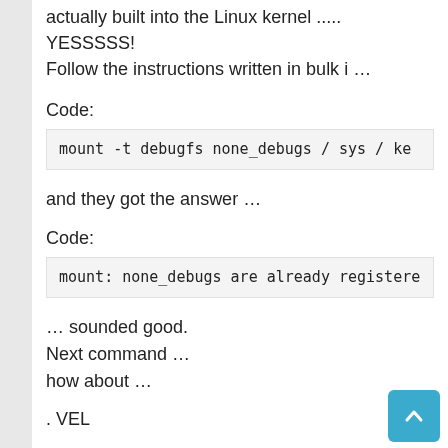actually built into the Linux kernel .....
YESSSSS!
Follow the instructions written in bulk i …
Code:
mount -t debugfs none_debugs / sys / ke
and they got the answer …
Code:
mount: none_debugs are already registere
… sounded good.
Next command …
how about …
. VEL